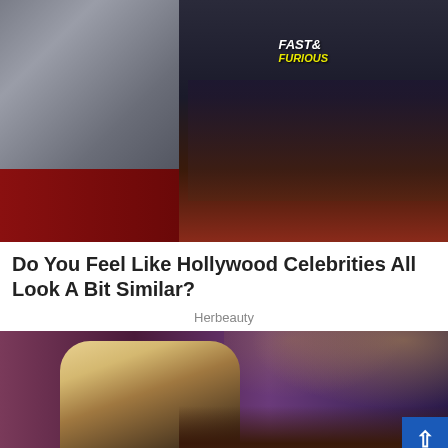[Figure (photo): A woman in a backless gray dress at what appears to be a Fast & Furious movie premiere red carpet event, with fans in the background taking photos.]
Do You Feel Like Hollywood Celebrities All Look A Bit Similar?
Herbeauty
[Figure (photo): A blonde woman in a black outfit on what appears to be a late-night TV show set with purple stage lighting and a desk area visible.]